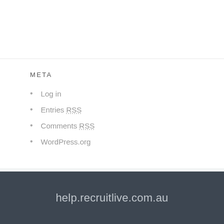META
Log in
Entries RSS
Comments RSS
WordPress.org
help.recruitlive.com.au